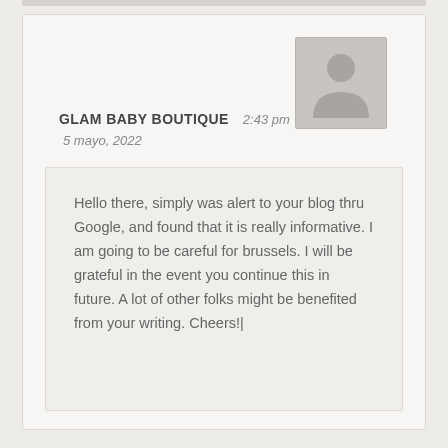[Figure (illustration): Gray avatar placeholder icon showing a silhouette of a person head and shoulders on a gray background with border]
GLAM BABY BOUTIQUE   2:43 pm
5 mayo, 2022
Hello there, simply was alert to your blog thru Google, and found that it is really informative. I am going to be careful for brussels. I will be grateful in the event you continue this in future. A lot of other folks might be benefited from your writing. Cheers!|